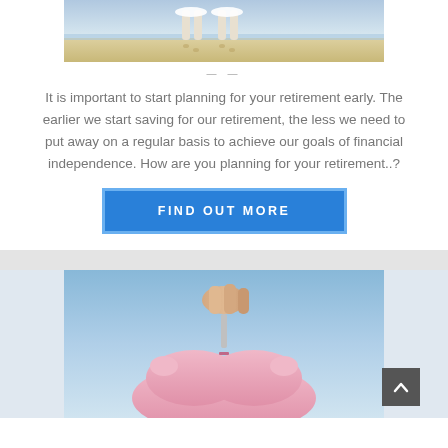[Figure (photo): Two people walking on a beach, viewed from the waist down, sandy beach with ocean waves]
It is important to start planning for your retirement early. The earlier we start saving for our retirement, the less we need to put away on a regular basis to achieve our goals of financial independence. How are you planning for your retirement..?
FIND OUT MORE
[Figure (photo): A hand inserting a coin into a pink piggy bank shaped like a heart, blue sky background]